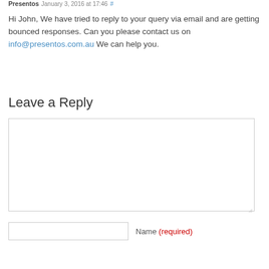Presentos January 3, 2016 at 17:46 #
Hi John, We have tried to reply to your query via email and are getting bounced responses. Can you please contact us on info@presentos.com.au We can help you.
Leave a Reply
[Comment text area]
Name (required)